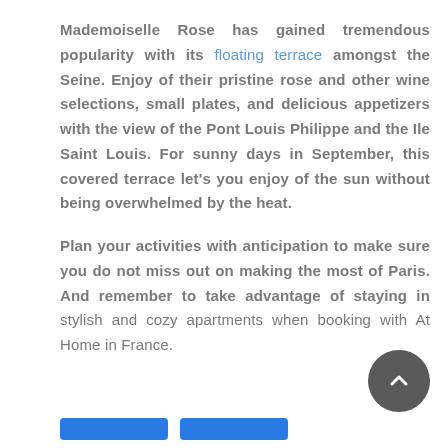Mademoiselle Rose has gained tremendous popularity with its floating terrace amongst the Seine. Enjoy of their pristine rose and other wine selections, small plates, and delicious appetizers with the view of the Pont Louis Philippe and the Ile Saint Louis. For sunny days in September, this covered terrace let’s you enjoy of the sun without being overwhelmed by the heat.
Plan your activities with anticipation to make sure you do not miss out on making the most of Paris. And remember to take advantage of staying in stylish and cozy apartments when booking with At Home in France.